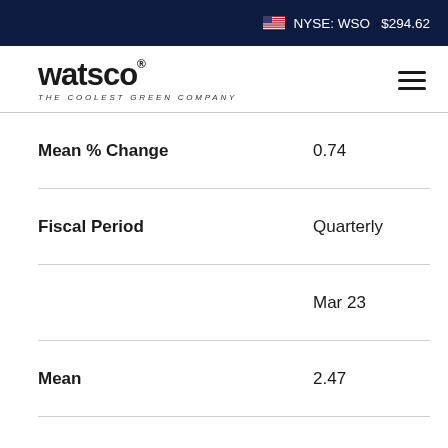NYSE: WSO  $294.62
[Figure (logo): Watsco logo with text 'THE COOLEST GREEN COMPANY']
| Label | Value |
| --- | --- |
| Mean % Change | 0.74 |
| Fiscal Period | Quarterly |
|  | Mar 23 |
| Mean | 2.47 |
| High | 3.13 |
| Low | 1.61 |